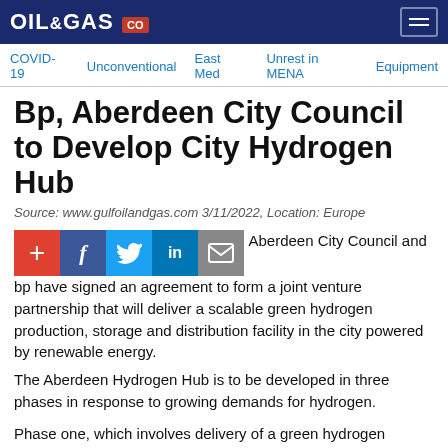OIL&GAS CO
COVID-19 | Unconventional | East Med | Unrest in MENA | Equipment
Bp, Aberdeen City Council to Develop City Hydrogen Hub
Source: www.gulfoilandgas.com 3/11/2022, Location: Europe
[Figure (other): Social share buttons: plus/add, Facebook, Twitter, LinkedIn, Email]
Aberdeen City Council and bp have signed an agreement to form a joint venture partnership that will deliver a scalable green hydrogen production, storage and distribution facility in the city powered by renewable energy.
The Aberdeen Hydrogen Hub is to be developed in three phases in response to growing demands for hydrogen.
Phase one, which involves delivery of a green hydrogen